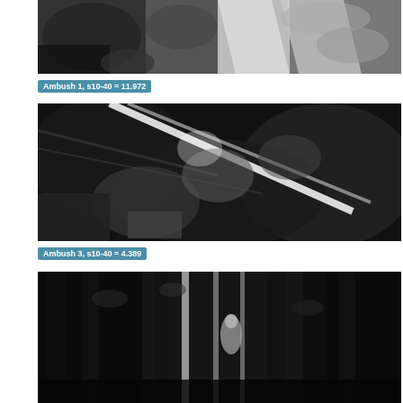[Figure (photo): Black and white image showing hands and figures in close-up, grayscale scene with motion blur effects. Ambush 1 dataset visualization.]
Ambush 1, s10-40 = 11.972
[Figure (photo): Black and white image showing a dark scene with blurred figures and motion, high contrast grayscale. Ambush 3 dataset visualization.]
Ambush 3, s10-40 = 4.389
[Figure (photo): Black and white image showing vertical bamboo stalks in a forest with a small figure visible in the middle distance, high contrast grayscale.]